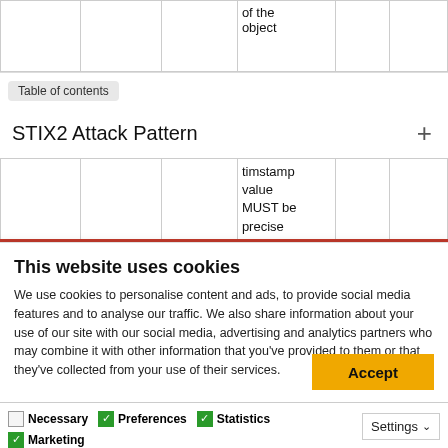|  |  |  | of the object |  |  |
Table of contents
STIX2 Attack Pattern
|  |  |  | timstamp value MUST be precise to the nearest m |  |  |
This website uses cookies
We use cookies to personalise content and ads, to provide social media features and to analyse our traffic. We also share information about your use of our site with our social media, advertising and analytics partners who may combine it with other information that you've provided to them or that they've collected from your use of their services.
Accept
Necessary   Preferences   Statistics   Marketing   Settings